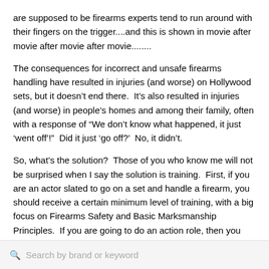are supposed to be firearms experts tend to run around with their fingers on the trigger....and this is shown in movie after movie after movie after movie........
The consequences for incorrect and unsafe firearms handling have resulted in injuries (and worse) on Hollywood sets, but it doesn't end there.  It's also resulted in injuries (and worse) in people's homes and among their family, often with a response of “We don’t know what happened, it just ‘went off’!”  Did it just ‘go off?’  No, it didn’t.
So, what’s the solution?  Those of you who know me will not be surprised when I say the solution is training.  First, if you are an actor slated to go on a set and handle a firearm, you should receive a certain minimum level of training, with a big focus on Firearms Safety and Basic Marksmanship Principles.  If you are going to do an action role, then you should receive additional defensive firearms training from someone who specializes in teaching that.... especially in the discipline (law enforcement, military, historical, etc.) that you are trying
Search by brand or keyword